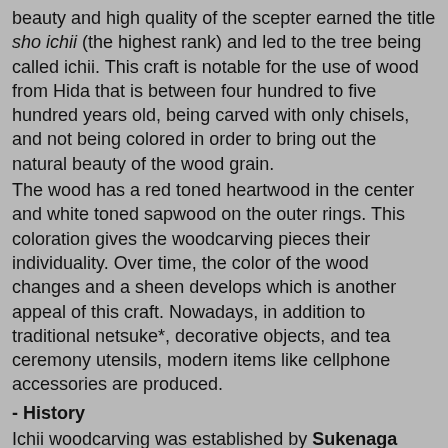beauty and high quality of the scepter earned the title sho ichii (the highest rank) and led to the tree being called ichii. This craft is notable for the use of wood from Hida that is between four hundred to five hundred years old, being carved with only chisels, and not being colored in order to bring out the natural beauty of the wood grain.
The wood has a red toned heartwood in the center and white toned sapwood on the outer rings. This coloration gives the woodcarving pieces their individuality. Over time, the color of the wood changes and a sheen develops which is another appeal of this craft. Nowadays, in addition to traditional netsuke*, decorative objects, and tea ceremony utensils, modern items like cellphone accessories are produced.
- History
Ichii woodcarving was established by Sukenaga MATSUDA during the later half of the Edo period (1603-1868). Since his family was in the business of producing chopsticks, he learned carving and became a woodcarver. One day, when he saw a heavily painted doll made in the Nara region, he thought it was a waste that the beauty of the wood grain and carving was hidden, which is what led him to make unpainted Ichii woodcarvings. It is written that Matsuda